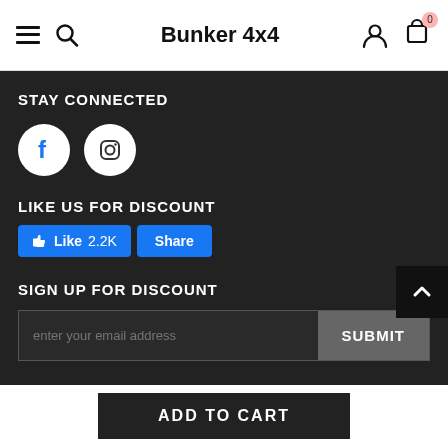Bunker 4x4
STAY CONNECTED
[Figure (illustration): Facebook and Instagram social media circular icons on dark background]
LIKE US FOR DISCOUNT
[Figure (illustration): Facebook Like button showing 2.2K likes and a Share button]
SIGN UP FOR DISCOUNT
enter your email address
SUBMIT
ADD TO CART